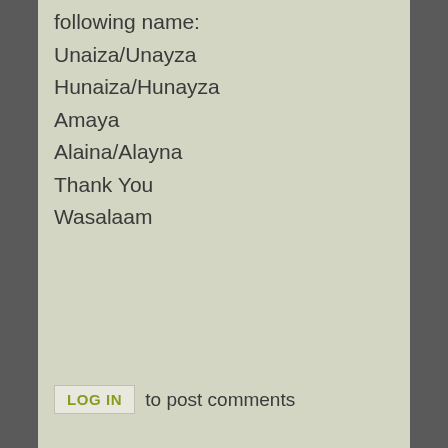following name:
Unaiza/Unayza
Hunaiza/Hunayza
Amaya
Alaina/Alayna
Thank You
Wasalaam
LOG IN to post comments
meaning